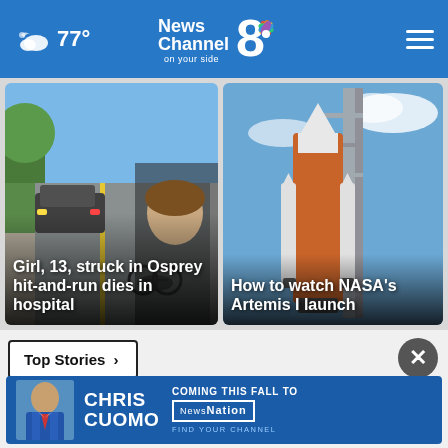77° News Channel 8 on your side
[Figure (screenshot): Left news card: Street scene with car and bicycle, overlaid with a child's face. Headline: Girl, 13, struck in Osprey hit-and-run dies in hospital]
[Figure (screenshot): Right news card: NASA SLS rocket on launch pad against blue sky. Headline: How to watch NASA's Artemis I launch]
Top Stories >
[Figure (infographic): Advertisement banner: Chris Cuomo - Coming this fall to NewsNation - Find your channel]